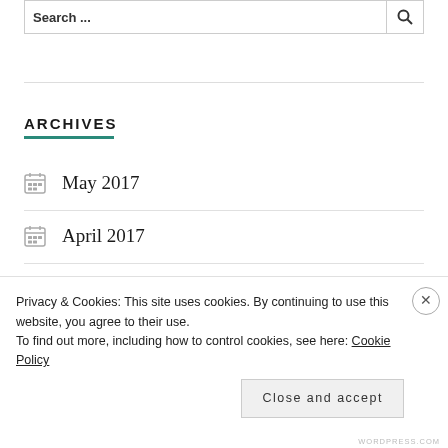Search ...
ARCHIVES
May 2017
April 2017
March 2017
Privacy & Cookies: This site uses cookies. By continuing to use this website, you agree to their use. To find out more, including how to control cookies, see here: Cookie Policy
Close and accept